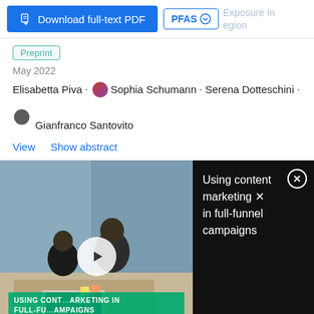[Figure (screenshot): Download full-text PDF button (blue) and PFAS Exposure in Region UI element]
Preprint
May 2022
Elisabetta Piva · Sophia Schumann · Serena Dotteschini · Gianfranco Santovito
View    Show abstract
[Figure (screenshot): Video thumbnail showing two people working at a laptop in an office, with green text overlay reading USING CONTENT MARKETING IN FULL-FUNNEL CAMPAIGNS and a play button, alongside a black panel showing title Using content marketing in full-funnel campaigns with a close button]
[Figure (screenshot): ThermoFisher Scientific advertisement with product image and headline: Automated sample prep that puts you in control]